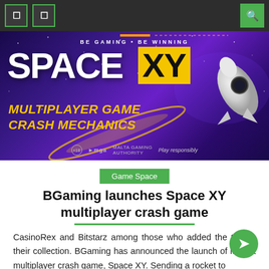Navigation bar with menu icons and search button
[Figure (illustration): Space XY game promotional banner with purple space background, rocket, text reading SPACE XY MULTIPLAYER GAME CRASH MECHANICS, BE GAMING BE WINNING, MGA logo, Play responsibly]
Game Space
BGaming launches Space XY multiplayer crash game
CasinoRex and Bitstarz among those who added the title to their collection. BGaming has announced the launch of its first multiplayer crash game, Space XY. Sending a rocket to